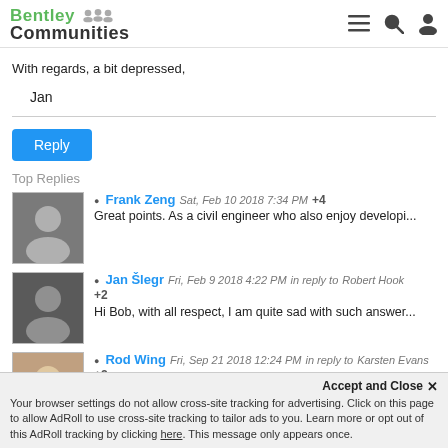Bentley Communities
With regards, a bit depressed,
Jan
Reply
Top Replies
Frank Zeng  Sat, Feb 10 2018 7:34 PM  +4
Great points. As a civil engineer who also enjoy developi...
Jan Šlegr  Fri, Feb 9 2018 4:22 PM  in reply to  Robert Hook  +2
Hi Bob, with all respect, I am quite sad with such answer...
Rod Wing  Fri, Sep 21 2018 12:24 PM  in reply to  Karsten Evans  +2
Greenhill C compiler and I/Forms on the CLIX platform...
Accept and Close ×
Your browser settings do not allow cross-site tracking for advertising. Click on this page to allow AdRoll to use cross-site tracking to tailor ads to you. Learn more or opt out of this AdRoll tracking by clicking here. This message only appears once.